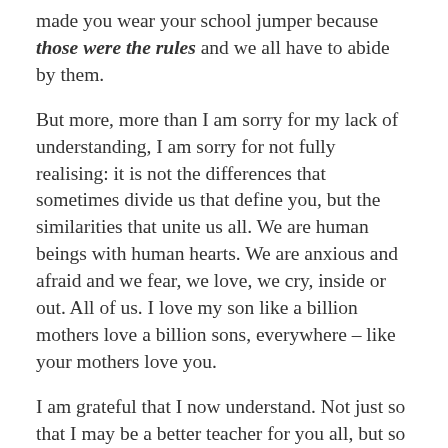made you wear your school jumper because those were the rules and we all have to abide by them.
But more, more than I am sorry for my lack of understanding, I am sorry for not fully realising: it is not the differences that sometimes divide us that define you, but the similarities that unite us all. We are human beings with human hearts. We are anxious and afraid and we fear, we love, we cry, inside or out. All of us. I love my son like a billion mothers love a billion sons, everywhere – like your mothers love you.
I am grateful that I now understand. Not just so that I may be a better teacher for you all, but so that I may be a better teacher, a better human being for everyone I know, teach, love. Who knows what silent battles others fight? Who knows which actions are provoked by fear or doubt or desperation?